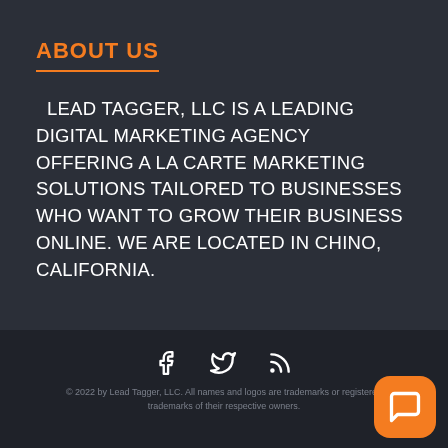ABOUT US
LEAD TAGGER, LLC IS A LEADING DIGITAL MARKETING AGENCY OFFERING A LA CARTE MARKETING SOLUTIONS TAILORED TO BUSINESSES WHO WANT TO GROW THEIR BUSINESS ONLINE. WE ARE LOCATED IN CHINO, CALIFORNIA.
[Figure (illustration): Social media icons: Facebook (f), Twitter (bird), RSS feed icon, all white on dark background]
© 2022 by Lead Tagger, LLC. All names and logos are trademarks or registered trademarks of their respective owners.